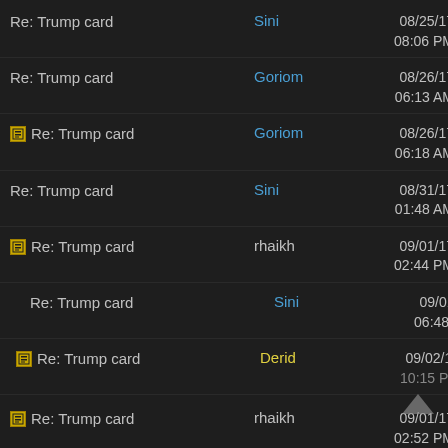Re: Trump card | Sini | 08/25/17 08:06 PM
Re: Trump card | Goriom | 08/26/17 06:13 AM
[icon] Re: Trump card | Goriom | 08/26/17 06:18 AM
Re: Trump card | Sini | 08/31/17 01:48 AM
[icon] Re: Trump card | rhaikh | 09/01/17 02:44 PM
Re: Trump card | Sini | 09/01/17 06:48 PM
[icon] Re: Trump card | Derid | 09/02/17 10:15 PM
[icon] Re: Trump card | rhaikh | 09/01/17 02:52 PM